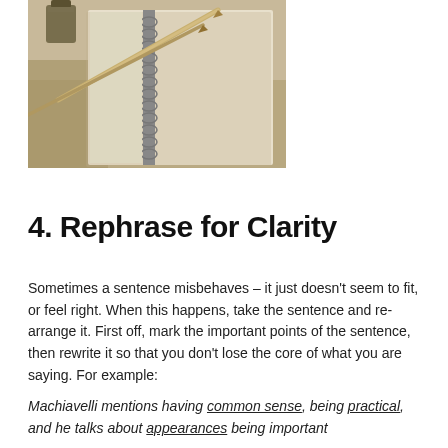[Figure (photo): Sepia-toned photo of an open spiral notebook with a fountain pen, ink bottle, and pencil on a wooden surface]
4. Rephrase for Clarity
Sometimes a sentence misbehaves – it just doesn't seem to fit, or feel right. When this happens, take the sentence and re-arrange it. First off, mark the important points of the sentence, then rewrite it so that you don't lose the core of what you are saying. For example:
Machiavelli mentions having common sense, being practical, and he talks about appearances being important